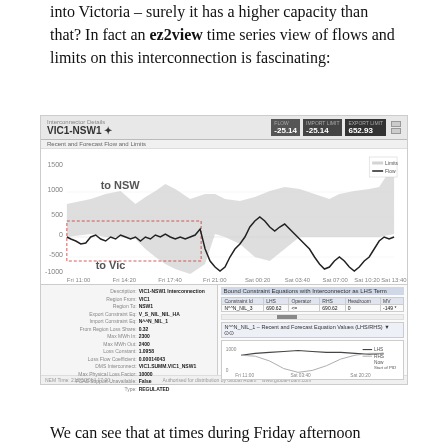into Victoria – surely it has a higher capacity than that? In fact an ez2view time series view of flows and limits on this interconnection is fascinating:
[Figure (screenshot): Screenshot of ez2view software showing VIC1-NSW1 interconnector details. Top section shows a time-series chart of 'Recent and Forecast Flow and Limits' with a shaded area band (limits) and a dark line (flow) oscillating between approximately -1000 and 1000, labeled 'to NSW' at top and 'to Vic' at bottom. Current values shown: FLOW -25.14, IMPORT LIMIT -25.14, EXPORT LIMIT 652.93. Bottom left panel shows interconnector details table (VIC1-NSW1 Interconnection details). Bottom right panel shows 'Bound Constraint Equations with Interconnector as LHS Term' table and a mini chart for N^^N_NIL_1 equation values.]
We can see that at times during Friday afternoon